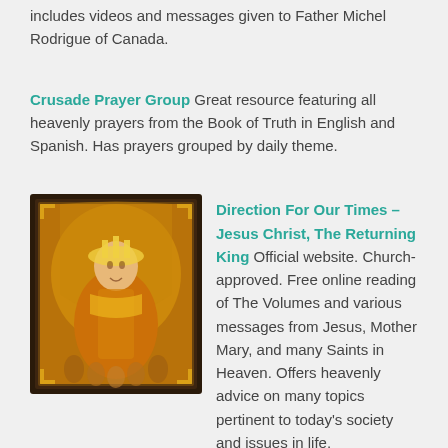includes videos and messages given to Father Michel Rodrigue of Canada.
Crusade Prayer Group Great resource featuring all heavenly prayers from the Book of Truth in English and Spanish. Has prayers grouped by daily theme.
[Figure (photo): Framed religious icon painting of Jesus Christ as a king, with golden/orange hues and a dark ornate frame]
Direction For Our Times – Jesus Christ, The Returning King Official website. Church-approved. Free online reading of The Volumes and various messages from Jesus, Mother Mary, and many Saints in Heaven. Offers heavenly advice on many topics pertinent to today's society and issues in life.